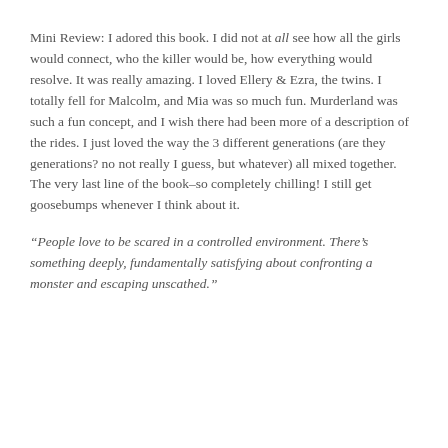Mini Review: I adored this book. I did not at all see how all the girls would connect, who the killer would be, how everything would resolve. It was really amazing. I loved Ellery & Ezra, the twins. I totally fell for Malcolm, and Mia was so much fun. Murderland was such a fun concept, and I wish there had been more of a description of the rides. I just loved the way the 3 different generations (are they generations? no not really I guess, but whatever) all mixed together.
The very last line of the book–so completely chilling! I still get goosebumps whenever I think about it.
“People love to be scared in a controlled environment. There’s something deeply, fundamentally satisfying about confronting a monster and escaping unscathed.”